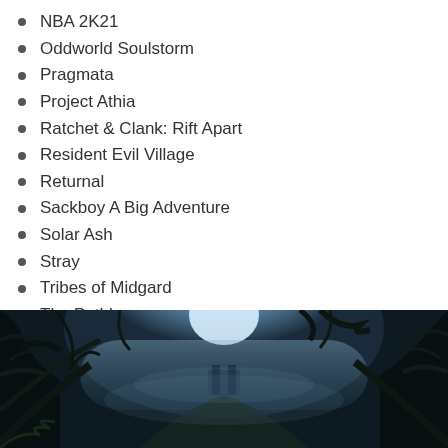NBA 2K21
Oddworld Soulstorm
Pragmata
Project Athia
Ratchet & Clank: Rift Apart
Resident Evil Village
Returnal
Sackboy A Big Adventure
Solar Ash
Stray
Tribes of Midgard
The Pathless
[Figure (photo): Dark atmospheric game screenshot showing a misty forest with bare trees, bright light filtering through from behind, and a path leading to a gate or archway in the distance]